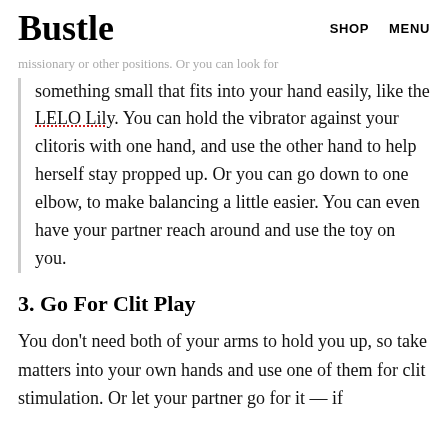Bustle | SHOP  MENU
missionary or other positions. Or you can look for something small that fits into your hand easily, like the LELO Lily. You can hold the vibrator against your clitoris with one hand, and use the other hand to help herself stay propped up. Or you can go down to one elbow, to make balancing a little easier. You can even have your partner reach around and use the toy on you.
3. Go For Clit Play
You don't need both of your arms to hold you up, so take matters into your own hands and use one of them for clit stimulation. Or let your partner go for it — if